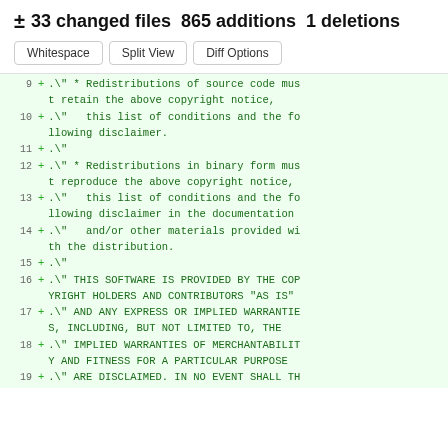± 33 changed files 865 additions 1 deletions
Whitespace | Split View | Diff Options
9 + .\" * Redistributions of source code must retain the above copyright notice,
10 + .\"   this list of conditions and the following disclaimer.
11 + .\"
12 + .\" * Redistributions in binary form must reproduce the above copyright notice,
13 + .\"   this list of conditions and the following disclaimer in the documentation
14 + .\"   and/or other materials provided with the distribution.
15 + .\"
16 + .\" THIS SOFTWARE IS PROVIDED BY THE COPYRIGHT HOLDERS AND CONTRIBUTORS "AS IS"
17 + .\" AND ANY EXPRESS OR IMPLIED WARRANTIES, INCLUDING, BUT NOT LIMITED TO, THE
18 + .\" IMPLIED WARRANTIES OF MERCHANTABILITY AND FITNESS FOR A PARTICULAR PURPOSE
19 + .\" ARE DISCLAIMED. IN NO EVENT SHALL TH